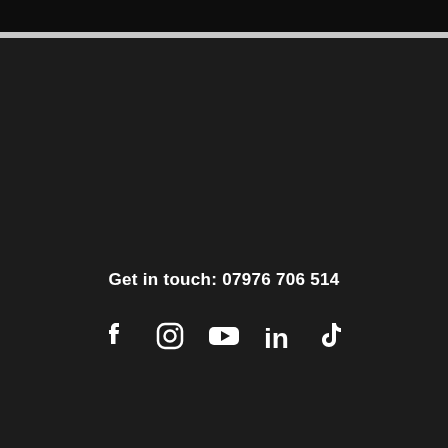Get in touch: 07976 706 514
[Figure (infographic): Social media icons row: Facebook, Instagram, YouTube, LinkedIn, TikTok]